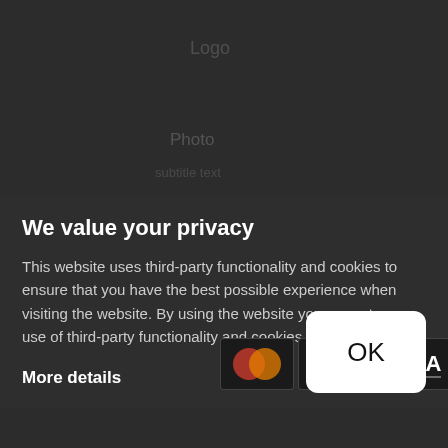We value your privacy
This website uses third-party functionality and cookies to ensure that you have the best possible experience when visiting the website. By using the website you agree to our use of third-party functionality and cookies.
More details
[Figure (screenshot): Payment method icons: Mastercard, VISA (two instances), PayPal, and an OK button on white rounded rectangle]
OK